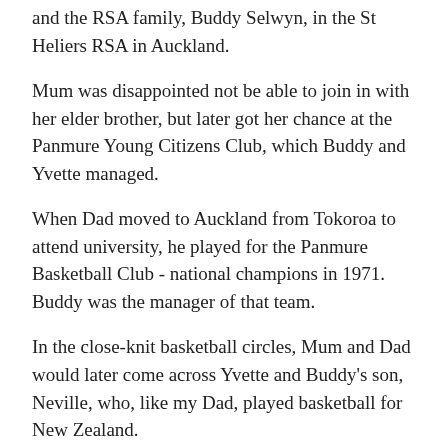and the RSA family, Buddy Selwyn, in the St Heliers RSA in Auckland.
Mum was disappointed not be able to join in with her elder brother, but later got her chance at the Panmure Young Citizens Club, which Buddy and Yvette managed.
When Dad moved to Auckland from Tokoroa to attend university, he played for the Panmure Basketball Club - national champions in 1971. Buddy was the manager of that team.
In the close-knit basketball circles, Mum and Dad would later come across Yvette and Buddy's son, Neville, who, like my Dad, played basketball for New Zealand.
Yvette leaves a legacy not just in the athletics community but for all sports' fans. May we